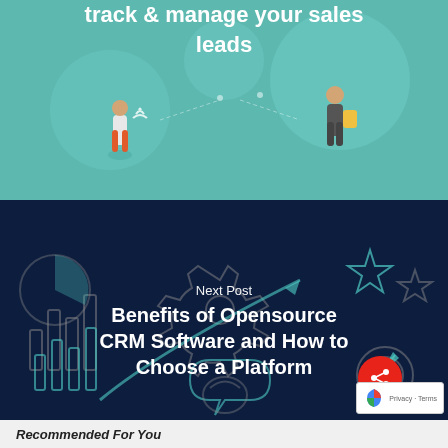[Figure (illustration): Teal background illustration showing people with connectivity icons and the text 'track & manage your sales leads' in white]
[Figure (illustration): Dark navy blue banner with CRM-related icons (gears, charts, stars, arrows, targets) overlaid. Contains 'Next Post' label and title text 'Benefits of Opensource CRM Software and How to Choose a Platform']
Next Post
Benefits of Opensource CRM Software and How to Choose a Platform
Recommended For You